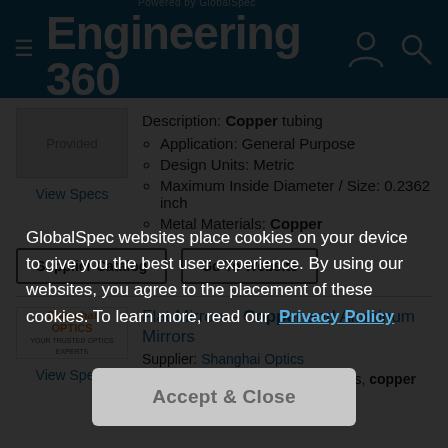Engineering 360 - Powered by GlobalSpec
[Figure (logo): Image placeholder labeled 'Provided']
View Specs
Description: Copper tubing
Application: General Purpose
Design Units: Metric
Maximum Inside Diameter / Size: 0.2362 inch
Metal Materials: Copper
Supplier Catalog | Go To Website
[Figure (logo): Shanghai Optics logo]
View Specs
Flat Mirrors - Copper and Aluminum Mirrors
Supplier: Shanghai Optics
Description: Like household mirrors, copper and
GlobalSpec websites place cookies on your device to give you the best user experience. By using our websites, you agree to the placement of these cookies. To learn more, read our Privacy Policy
Accept & Close